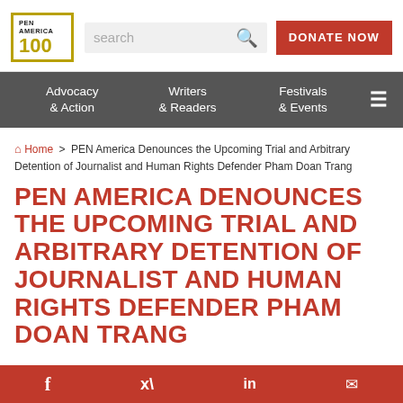PEN AMERICA logo, search bar, DONATE NOW button
Advocacy & Action | Writers & Readers | Festivals & Events
Home > PEN America Denounces the Upcoming Trial and Arbitrary Detention of Journalist and Human Rights Defender Pham Doan Trang
PEN AMERICA DENOUNCES THE UPCOMING TRIAL AND ARBITRARY DETENTION OF JOURNALIST AND HUMAN RIGHTS DEFENDER PHAM DOAN TRANG
Social share bar: Facebook, Twitter, LinkedIn, Email